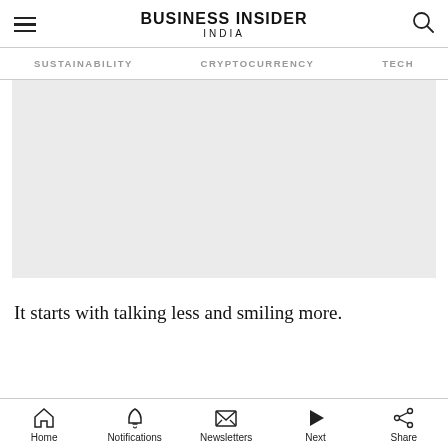BUSINESS INSIDER INDIA
SUSTAINABILITY  CRYPTOCURRENCY  TECH
[Figure (photo): Large light grey placeholder image area]
It starts with talking less and smiling more.
Home  Notifications  Newsletters  Next  Share